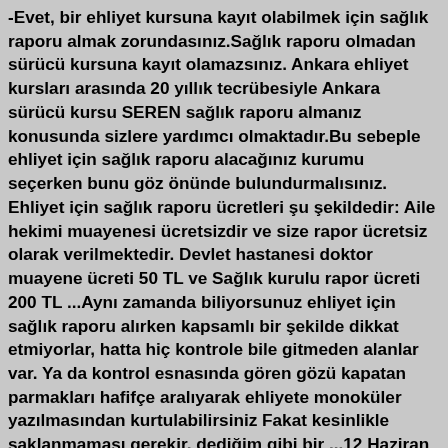-Evet, bir ehliyet kursuna kayıt olabilmek için sağlık raporu almak zorundasınız.Sağlık raporu olmadan sürücü kursuna kayıt olamazsınız. Ankara ehliyet kursları arasında 20 yıllık tecrübesiyle Ankara sürücü kursu SEREN sağlık raporu almanız konusunda sizlere yardımcı olmaktadır.Bu sebeple ehliyet için sağlık raporu alacağınız kurumu seçerken bunu göz önünde bulundurmalısınız. Ehliyet için sağlık raporu ücretleri şu şekildedir: Aile hekimi muayenesi ücretsizdir ve size rapor ücretsiz olarak verilmektedir. Devlet hastanesi doktor muayene ücreti 50 TL ve Sağlık kurulu rapor ücreti 200 TL ...Aynı zamanda biliyorsunuz ehliyet için sağlık raporu alırken kapsamlı bir şekilde dikkat etmiyorlar, hatta hiç kontrole bile gitmeden alanlar var. Ya da kontrol esnasında gören gözü kapatan parmakları hafifçe aralıyarak ehliyete monoküler yazılmasından kurtulabilirsiniz Fakat kesinlikle saklanmaması gerekir, dediğim gibi bir ...12 Haziran 2022. #1. Ehliyete başvurmadan önce sağlık raporunu aldığımda aile hekimine bir şeyim yok demişim onll